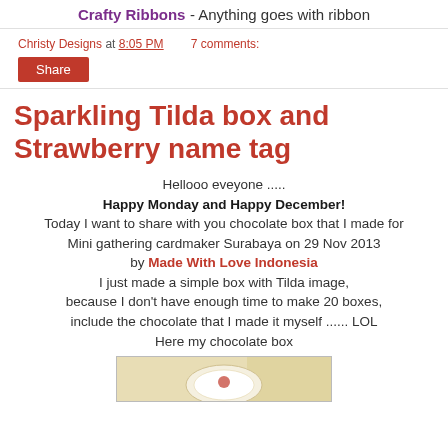Crafty Ribbons - Anything goes with ribbon
Christy Designs at 8:05 PM   7 comments:
Share
Sparkling Tilda box and Strawberry name tag
Hellooo eveyone .....
Happy Monday and Happy December!
Today I want to share with you chocolate box that I made for Mini gathering cardmaker Surabaya on 29 Nov 2013
by Made With Love Indonesia
I just made a simple box with Tilda image,
because I don't have enough time to make 20 boxes,
include the chocolate that I made it myself ...... LOL
Here my chocolate box
[Figure (photo): Photo of a chocolate box with Tilda image, partially visible at the bottom of the page]